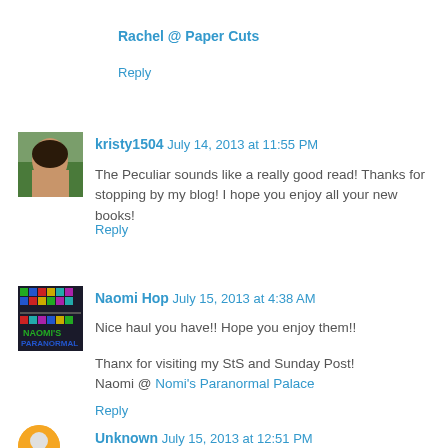Rachel @ Paper Cuts
Reply
[Figure (photo): Avatar photo of kristy1504 - person with dark hair]
kristy1504 July 14, 2013 at 11:55 PM
The Peculiar sounds like a really good read! Thanks for stopping by my blog! I hope you enjoy all your new books!
Reply
[Figure (logo): Naomi Hop blog avatar - colorful pixel art logo]
Naomi Hop July 15, 2013 at 4:38 AM
Nice haul you have!! Hope you enjoy them!!
Thanx for visiting my StS and Sunday Post!
Naomi @ Nomi's Paranormal Palace
Reply
[Figure (photo): Unknown commenter avatar - partially visible orange/yellow circle]
Unknown July 15, 2013 at 12:51 PM